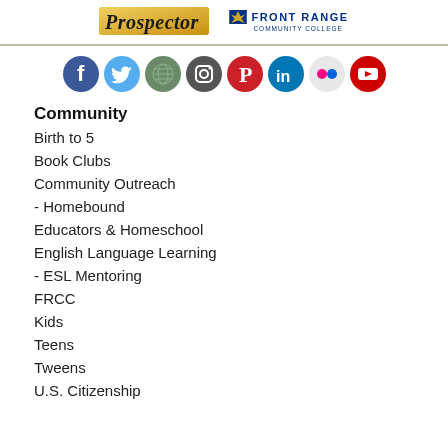[Figure (logo): Prospector logo and Front Range Community College logo side by side in page header]
[Figure (infographic): Row of social media icons: Facebook, Twitter, a globe/Prospector icon, Instagram, Pinterest, LinkedIn, Flickr, YouTube]
Community
Birth to 5
Book Clubs
Community Outreach
- Homebound
Educators & Homeschool
English Language Learning
- ESL Mentoring
FRCC
Kids
Teens
Tweens
U.S. Citizenship